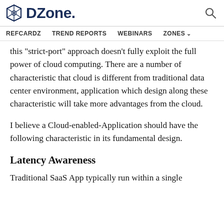DZone. [search icon]
REFCARDZ   TREND REPORTS   WEBINARS   ZONES v
this "strict-port" approach doesn't fully exploit the full power of cloud computing. There are a number of characteristic that cloud is different from traditional data center environment, application which design along these characteristic will take more advantages from the cloud.
I believe a Cloud-enabled-Application should have the following characteristic in its fundamental design.
Latency Awareness
Traditional SaaS App typically run within a single